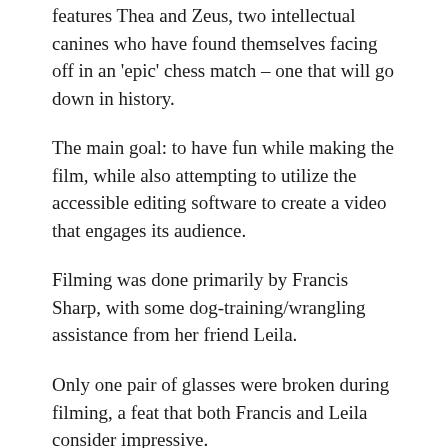features Thea and Zeus, two intellectual canines who have found themselves facing off in an 'epic' chess match – one that will go down in history.
The main goal: to have fun while making the film, while also attempting to utilize the accessible editing software to create a video that engages its audience.
Filming was done primarily by Francis Sharp, with some dog-training/wrangling assistance from her friend Leila.
Only one pair of glasses were broken during filming, a feat that both Francis and Leila consider impressive.
Feedback Questions